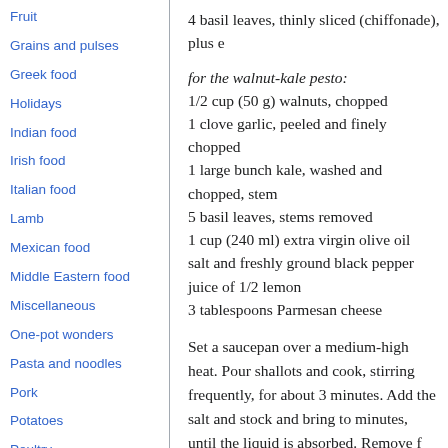Fruit
Grains and pulses
Greek food
Holidays
Indian food
Irish food
Italian food
Lamb
Mexican food
Middle Eastern food
Miscellaneous
One-pot wonders
Pasta and noodles
Pork
Potatoes
Poultry
4 basil leaves, thinly sliced (chiffonade), plus e
for the walnut-kale pesto:
1/2 cup (50 g) walnuts, chopped
1 clove garlic, peeled and finely chopped
1 large bunch kale, washed and chopped, stem
5 basil leaves, stems removed
1 cup (240 ml) extra virgin olive oil
salt and freshly ground black pepper
juice of 1/2 lemon
3 tablespoons Parmesan cheese
Set a saucepan over a medium-high heat. Pour shallots and cook, stirring frequently, for about 3 minutes. Add the salt and stock and bring to minutes, until the liquid is absorbed. Remove f and refrigerate it for up to 1 day.)
While the quinoa cooks, set a pot of salted wat ice cubes waiting in the sink. Bring the salted w the blanching water for (You can give